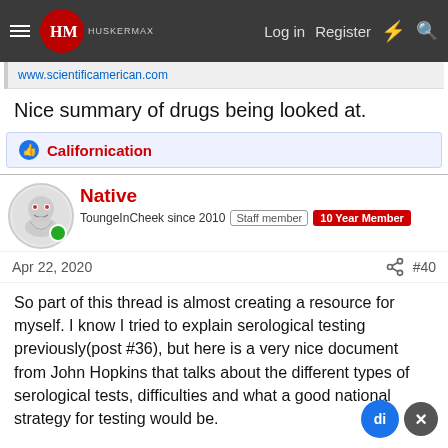HuskerMax — Log in  Register
www.scientificamerican.com
Nice summary of drugs being looked at.
Californication
Native — ToungeInCheek since 2010  Staff member  10 Year Member
Apr 22, 2020  #40
So part of this thread is almost creating a resource for myself. I know I tried to explain serological testing previously(post #36), but here is a very nice document from John Hopkins that talks about the different types of serological tests, difficulties and what a good national strategy for testing would be.